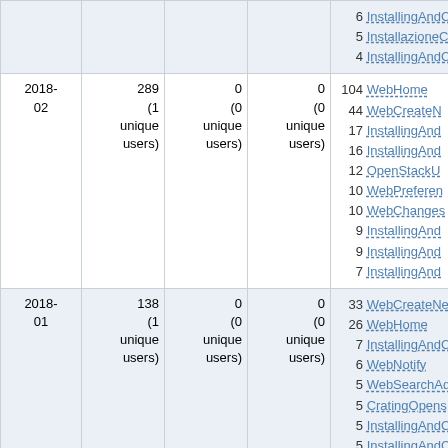| Date | Views | Edits | Contributors | Top pages |
| --- | --- | --- | --- | --- |
|  |  |  |  | 6 InstallingAndC...
5 InstallazioneC...
4 InstallingAndC... |
| 2018-02 | 289
(1 unique users) | 0
(0 unique users) | 0
(0 unique users) | 104 WebHome
44 WebCreateN...
17 InstallingAnd...
16 InstallingAnd...
12 OpenStackU...
10 WebPreferen...
10 WebChanges...
9 InstallingAnd...
9 InstallingAnd...
7 InstallingAnd... |
| 2018-01 | 138
(1 unique users) | 0
(0 unique users) | 0
(0 unique users) | 33 WebCreateNe...
26 WebHome
7 InstallingAndC...
6 WebNotify
5 WebSearchAd...
5 CratingOpens...
5 InstallingAndC...
5 InstallingAndC...
5 InstallingAndC...
4 InstallingAnd... |